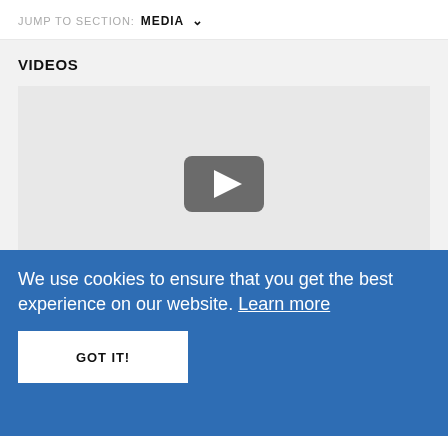JUMP TO SECTION: MEDIA ∨
VIDEOS
[Figure (screenshot): Video player placeholder with a dark rounded-rectangle play button in the center on a light gray background]
We use cookies to ensure that you get the best experience on our website. Learn more
GOT IT!